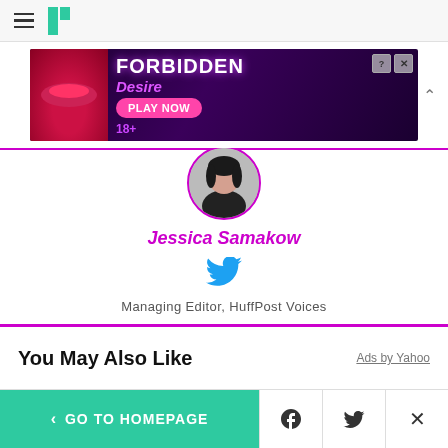HuffPost navigation header with hamburger menu and logo
[Figure (screenshot): Advertisement banner for 'Forbidden Desire' game with Play Now button, 18+ label, question and close controls]
[Figure (photo): Circular headshot photo of Jessica Samakow]
Jessica Samakow
[Figure (logo): Twitter bird icon in blue]
Managing Editor, HuffPost Voices
You May Also Like
Ads by Yahoo
< GO TO HOMEPAGE | Facebook share | Twitter share | Close